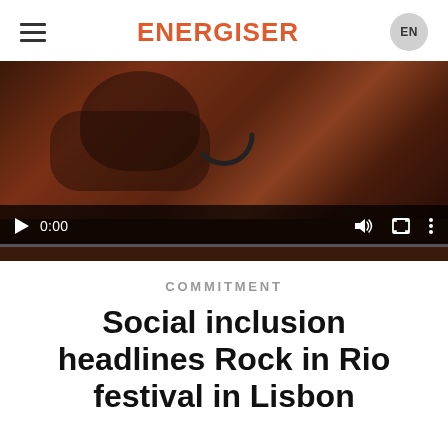ENERGISER
[Figure (screenshot): Video player showing a young person with glasses conducting or gesturing expressively, dark brownish background. Player controls show play button, timestamp 0:00, volume, fullscreen, and more options icons. A loading spinner arc is visible in center.]
COMMITMENT
Social inclusion headlines Rock in Rio festival in Lisbon